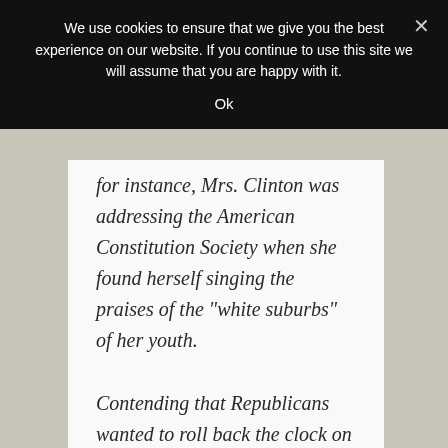We use cookies to ensure that we give you the best experience on our website. If you continue to use this site we will assume that you are happy with it.
Ok
for instance, Mrs. Clinton was addressing the American Constitution Society when she found herself singing the praises of the “white suburbs” of her youth.
Contending that Republicans wanted to roll back the clock on five decades of social progress in America, Mrs. Clinton mused: